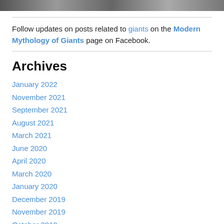[Figure (photo): Partial photo strip at top of page, black and white]
Follow updates on posts related to giants on the Modern Mythology of Giants page on Facebook.
Archives
January 2022
November 2021
September 2021
August 2021
March 2021
June 2020
April 2020
March 2020
January 2020
December 2019
November 2019
October 2019